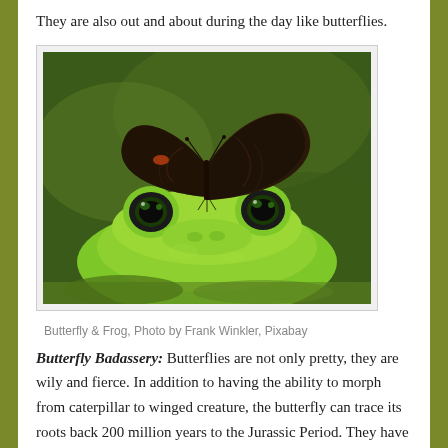They are also out and about during the day like butterflies.
[Figure (photo): A dark butterfly perched on the head of a bright green frog, close-up nature photography with green bokeh background.]
Butterfly & Frog, Photo by Frank Winkler, Pixabay
Butterfly Badassery: Butterflies are not only pretty, they are wily and fierce. In addition to having the ability to morph from caterpillar to winged creature, the butterfly can trace its roots back 200 million years to the Jurassic Period. They have survived not one but two major